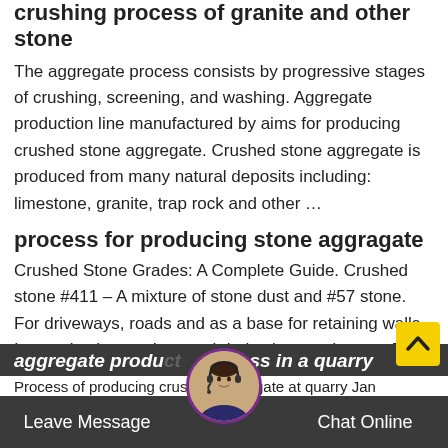crushing process of granite and other stone
The aggregate process consists by progressive stages of crushing, screening, and washing. Aggregate production line manufactured by aims for producing crushed stone aggregate. Crushed stone aggregate is produced from many natural deposits including: limestone, granite, trap rock and other …
process for producing stone aggragate
Crushed Stone Grades: A Complete Guide. Crushed stone #411 – A mixture of stone dust and #57 stone. For driveways, roads and as a base for retaining walls. It can also be used to patch holes in paved areas. The dust mixes with the larger stone and settles well. Crushed stone is a basic material used in various capacities.
aggregate production process in a quarry
Process of producing crushed aggregate at quarry Jan